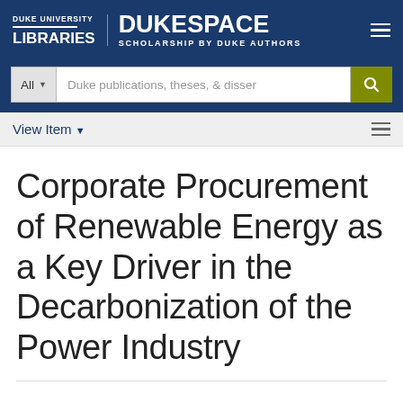DUKE UNIVERSITY LIBRARIES — DUKESPACE SCHOLARSHIP BY DUKE AUTHORS
All ▼   Duke publications, theses, & disser  🔍
View Item ▼
Corporate Procurement of Renewable Energy as a Key Driver in the Decarbonization of the Power Industry